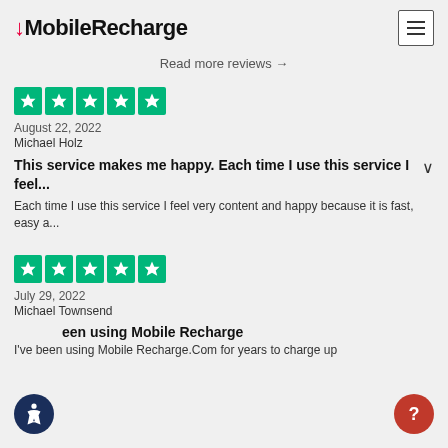MobileRecharge
Read more reviews →
[Figure (other): Five green Trustpilot star rating boxes]
August 22, 2022
Michael Holz
This service makes me happy. Each time I use this service I feel...
Each time I use this service I feel very content and happy because it is fast, easy a...
[Figure (other): Five green Trustpilot star rating boxes]
July 29, 2022
Michael Townsend
I've been using Mobile Recharge
I've been using Mobile Recharge.Com for years to charge up